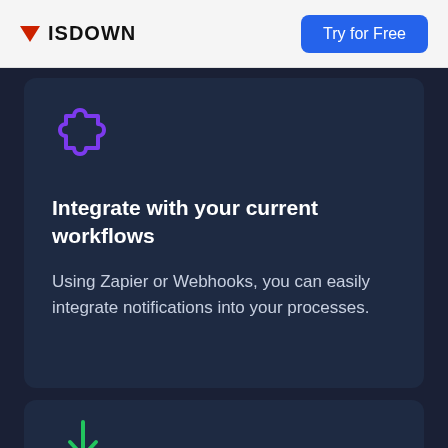ISDOWN | Try for Free
[Figure (illustration): Purple puzzle piece / integration icon]
Integrate with your current workflows
Using Zapier or Webhooks, you can easily integrate notifications into your processes.
[Figure (illustration): Green download/inbox icon (partially visible)]